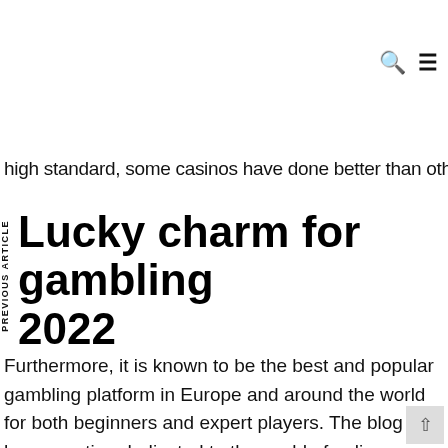🔍 ≡
high standard, some casinos have done better than others.
Lucky charm for gambling 2022
Furthermore, it is known to be the best and popular gambling platform in Europe and around the world for both beginners and expert players. The blog also has a section dedicated to the world of online gambling.